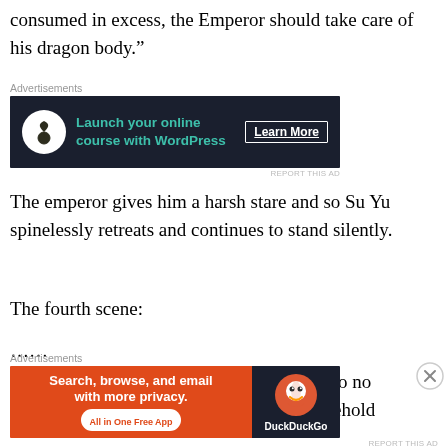consumed in excess, the Emperor should take care of his dragon body.”
[Figure (other): Advertisement banner: dark navy background with bonsai tree icon, teal text 'Launch your online course with WordPress', white 'Learn More' button]
The emperor gives him a harsh stare and so Su Yu spinelessly retreats and continues to stand silently.
The fourth scene:
……
A total of ten scenes, Su Yu’s lines add up to no more than twenty sentences. This big household
[Figure (other): Advertisement banner: orange left section 'Search, browse, and email with more privacy. All in One Free App', dark navy right section with DuckDuckGo logo]